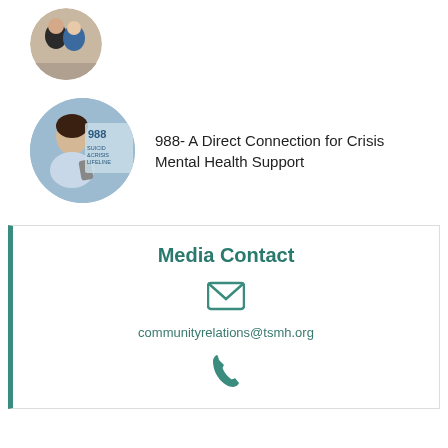[Figure (photo): Circular photo of two people in professional attire]
[Figure (photo): Circular photo of a young woman looking at phone, with 988 Suicide & Crisis Lifeline text overlay in background]
988- A Direct Connection for Crisis Mental Health Support
Media Contact
[Figure (other): Email envelope icon in teal color]
communityrelations@tsmh.org
[Figure (other): Phone handset icon in teal color]